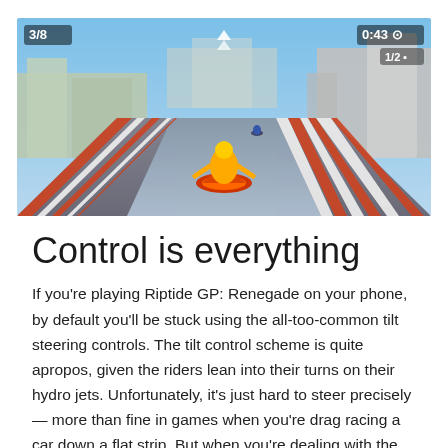[Figure (screenshot): Screenshot of a racing video game (Riptide GP: Renegade) showing a rider on a hydro jet on a futuristic water track. HUD shows '3/8' position top-left, '0:43' timer and '1/2' top-right. Buildings and sky in background.]
Control is everything
If you're playing Riptide GP: Renegade on your phone, by default you'll be stuck using the all-too-common tilt steering controls. The tilt control scheme is quite apropos, given the riders lean into their turns on their hydro jets. Unfortunately, it's just hard to steer precisely — more than fine in games when you're drag racing a car down a flat strip. But when you're dealing with the choppy waterways in Riptide GP, the slightest